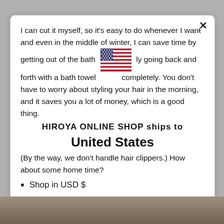I can cut it myself, so it's easy to do whenever I want, and even in the middle of winter, I can save time by getting out of the bath and quickly going back and forth with a bath towel to dry completely. You don't have to worry about styling your hair in the morning, and it saves you a lot of money, which is a good thing.
[Figure (illustration): US flag emoji inline in text]
HIROYA ONLINE SHOP ships to
United States
(By the way, we don't handle hair clippers.) How about some home time?
Shop in USD $
Get shipping options for United States
[Figure (screenshot): Shop now button overlay on product photo background]
Change shipping country
Japan (¥) English